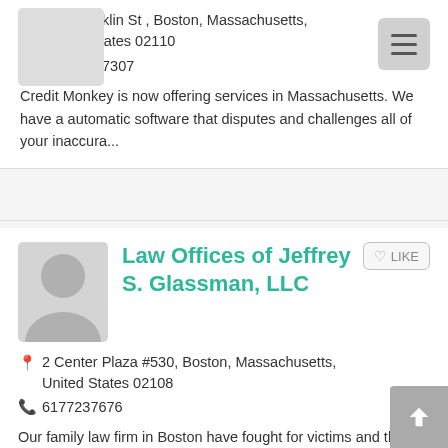[Figure (other): Hamburger menu button in top right corner]
265 Franklin St , Boston, Massachusetts, United States 02110
807-701-7307
Credit Monkey is now offering services in Massachusetts. We have a automatic software that disputes and challenges all of your inaccura...
[Figure (photo): Gray placeholder avatar image for Law Offices of Jeffrey S. Glassman, LLC]
Law Offices of Jeffrey S. Glassman, LLC
2 Center Plaza #530, Boston, Massachusetts, United States 02108
6177237676
Our family law firm in Boston have fought for victims and their families for more than two decades. Our law firm has a reputation for p...